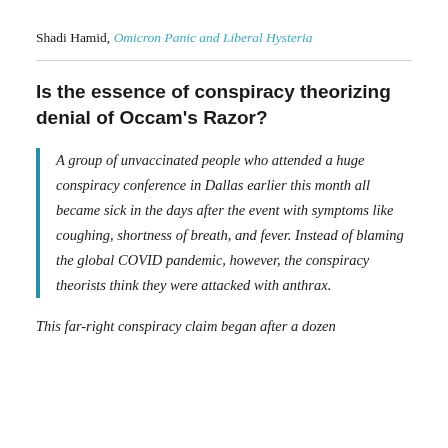Shadi Hamid, Omicron Panic and Liberal Hysteria
Is the essence of conspiracy theorizing denial of Occam's Razor?
A group of unvaccinated people who attended a huge conspiracy conference in Dallas earlier this month all became sick in the days after the event with symptoms like coughing, shortness of breath, and fever. Instead of blaming the global COVID pandemic, however, the conspiracy theorists think they were attacked with anthrax.
This far-right conspiracy claim began after a dozen